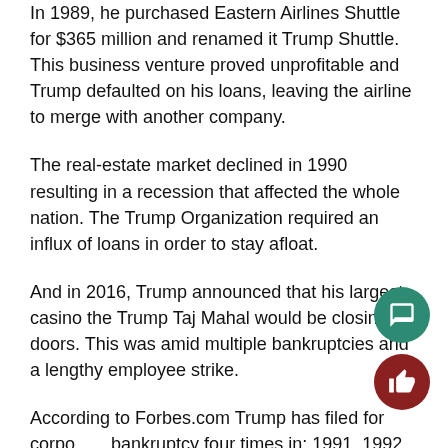In 1989, he purchased Eastern Airlines Shuttle for $365 million and renamed it Trump Shuttle. This business venture proved unprofitable and Trump defaulted on his loans, leaving the airline to merge with another company.
The real-estate market declined in 1990 resulting in a recession that affected the whole nation. The Trump Organization required an influx of loans in order to stay afloat.
And in 2016, Trump announced that his largest casino the Trump Taj Mahal would be closing its doors. This was amid multiple bankruptcies and a lengthy employee strike.
According to Forbes.com Trump has filed for corporate bankruptcy four times in: 1991, 1992, 2004 and 2009. He has never filed personal bankruptcy.